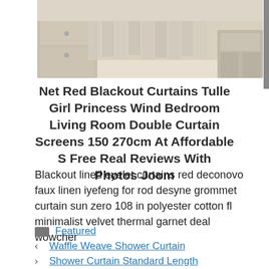[Figure (photo): Bedroom or living room interior with white/cream furniture and curtains in a light, airy setting]
Net Red Blackout Curtains Tulle Girl Princess Wind Bedroom Living Room Double Curtain Screens 150 270cm At Affordable S Free Real Reviews With Photos Joom
Blackout lined eyelet curtains red deconovo faux linen iyefeng for rod desyne grommet curtain sun zero 108 in polyester cotton fl minimalist velvet thermal garnet deal wowcher
Featured
Waffle Weave Shower Curtain
Shower Curtain Standard Length